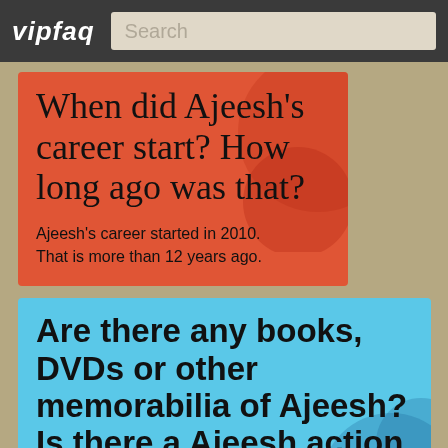vipfaq | Search
When did Ajeesh's career start? How long ago was that?
Ajeesh's career started in 2010. That is more than 12 years ago.
Are there any books, DVDs or other memorabilia of Ajeesh? Is there a Ajeesh action figure?